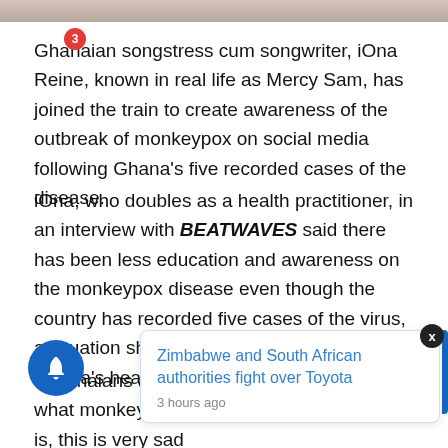[Figure (photo): Partial view of a person's hands/lower image strip at the top of the page]
Ghanaian songstress cum songwriter, iOna Reine, known in real life as Mercy Sam, has joined the train to create awareness of the outbreak of monkeypox on social media following Ghana's five recorded cases of the disease.
iOna, who doubles as a health practitioner, in an interview with BEATWAVES said there has been less education and awareness on the monkeypox disease even though the country has recorded five cases of the virus, a situation she describes as a threat to Ghana's health system.
“Ghanaians are moving about with no idea of what monkeypox is, this is very sad even though WH... te threat t... the ordinary Ghanaian in other to reduce the spread in the
[Figure (other): Popup notification card showing 'Zimbabwe and South African authorities fight over Toyota' headline with '3 hours ago' timestamp, overlaid on the main article text. A blue notification bell icon with red badge showing '3' is in the lower left. An X close button is in upper right of popup. A blue vertical bar is on the right edge of popup.]